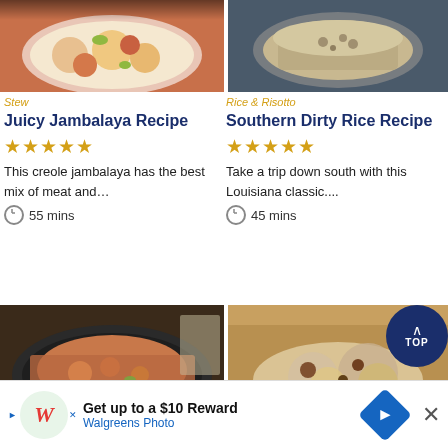[Figure (photo): Juicy jambalaya with shrimp in a white bowl]
[Figure (photo): Southern dirty rice in a white bowl]
Stew
Rice & Risotto
Juicy Jambalaya Recipe
Southern Dirty Rice Recipe
★★★★★
★★★★★
This creole jambalaya has the best mix of meat and…
Take a trip down south with this Louisiana classic....
55 mins
45 mins
[Figure (photo): Fried rice dish on dark plate]
[Figure (photo): Rice and meat dish in glass bowl with TOP button overlay]
[Figure (infographic): Walgreens Photo advertisement banner — Get up to a $10 Reward]